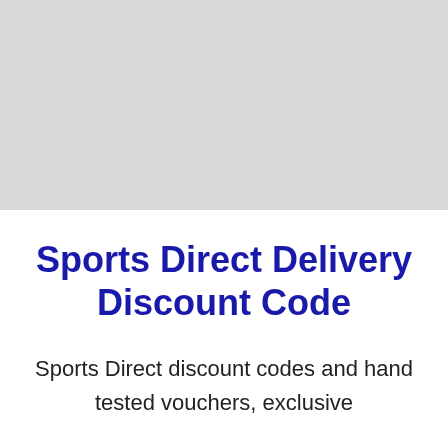[Figure (other): Gray rectangular placeholder image occupying the top portion of the page]
Sports Direct Delivery Discount Code
Sports Direct discount codes and hand tested vouchers, exclusive